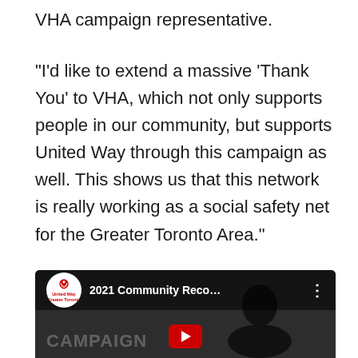VHA campaign representative.
“I’d like to extend a massive ‘Thank You’ to VHA, which not only supports people in our community, but supports United Way through this campaign as well. This shows us that this network is really working as a social safety net for the Greater Toronto Area.”
[Figure (screenshot): YouTube video thumbnail showing United Way Greater Toronto '2021 Community Reco...' video with United Way logo circle on left and three-dot menu on right, dark background with a person silhouette and campaign text overlay, red play button visible at bottom.]